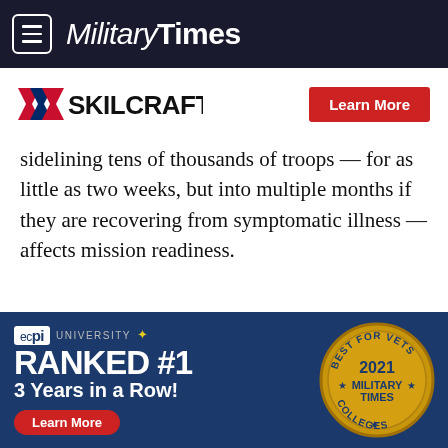MilitaryTimes
[Figure (logo): SKILCRAFT logo with red/blue chevron and Learn More red button]
sidelining tens of thousands of troops — for as little as two weeks, but into multiple months if they are recovering from symptomatic illness — affects mission readiness.
RELATED
Military's COVID-19 cases growing at twice the nationwide rate
[Figure (photo): Thumbnail photo of military personnel]
[Figure (infographic): ECPI University advertisement: Ranked #1 3 Years in a Row! Best for Vets 2021 Military Times Colleges]